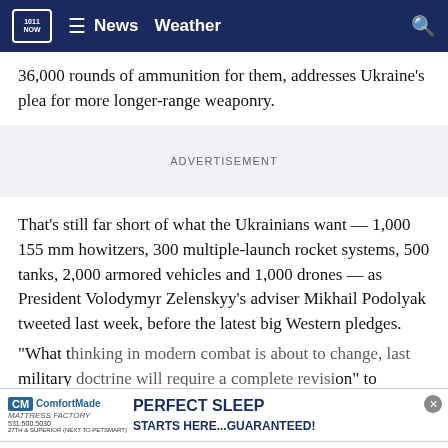NOW News Weather
36,000 rounds of ammunition for them, addresses Ukraine's plea for more longer-range weaponry.
ADVERTISEMENT
That's still far short of what the Ukrainians want — 1,000 155 mm howitzers, 300 multiple-launch rocket systems, 500 tanks, 2,000 armored vehicles and 1,000 drones — as President Volodymyr Zelenskyy's adviser Mikhail Podolyak tweeted last week, before the latest big Western pledges.
"What t... military... respond... to
[Figure (screenshot): ComfortMade Mattress Factory advertisement banner: PERFECT SLEEP STARTS HERE...GUARANTEED!]